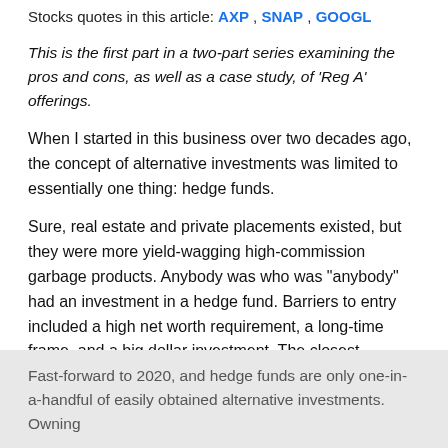Stocks quotes in this article: AXP, SNAP, GOOGL
This is the first part in a two-part series examining the pros and cons, as well as a case study, of 'Reg A' offerings.
When I started in this business over two decades ago, the concept of alternative investments was limited to essentially one thing: hedge funds.
Sure, real estate and private placements existed, but they were more yield-wagging high-commission garbage products. Anybody was who was "anybody" had an investment in a hedge fund. Barriers to entry included a high net worth requirement, a long-time frame, and a big dollar investment. The closest comparison to its exclusivity was the American Express (AXP) Black Card.
Fast-forward to 2020, and hedge funds are only one-in-a-handful of easily obtained alternative investments. Owning